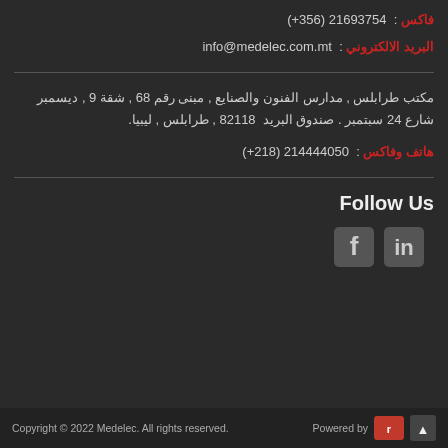فاكس : (+356) 21693754
البريد الالكتروني : info@medelec.com.mt
مكتب طرابلس , مدارس الفنون والصنايع , مبنى رقم 68 , شقة 9 , ديسمبر شارع 24 سبتمبر . صندوق البريد 82118 , طرابلس , ليبيا.
هاتف وفاكس : (+218) 214444050
Follow Us
Copyright © 2022 Medelec. All rights reserved.    Powered by